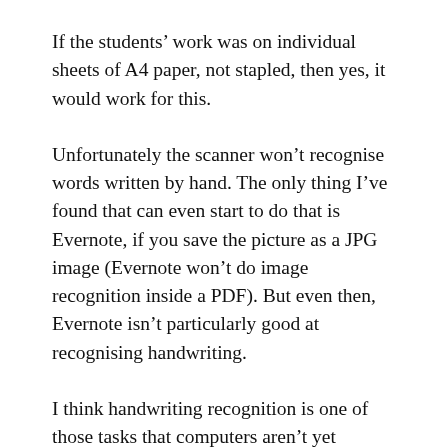If the students’ work was on individual sheets of A4 paper, not stapled, then yes, it would work for this.
Unfortunately the scanner won’t recognise words written by hand. The only thing I’ve found that can even start to do that is Evernote, if you save the picture as a JPG image (Evernote won’t do image recognition inside a PDF). But even then, Evernote isn’t particularly good at recognising handwriting.
I think handwriting recognition is one of those tasks that computers aren’t yet particularly good at.